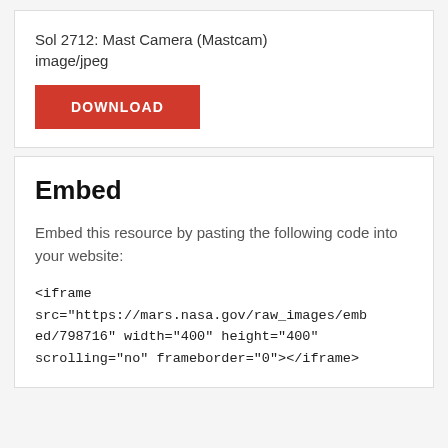Sol 2712: Mast Camera (Mastcam) image/jpeg
DOWNLOAD
Embed
Embed this resource by pasting the following code into your website:
<iframe src="https://mars.nasa.gov/raw_images/embed/798716" width="400" height="400" scrolling="no" frameborder="0"></iframe>